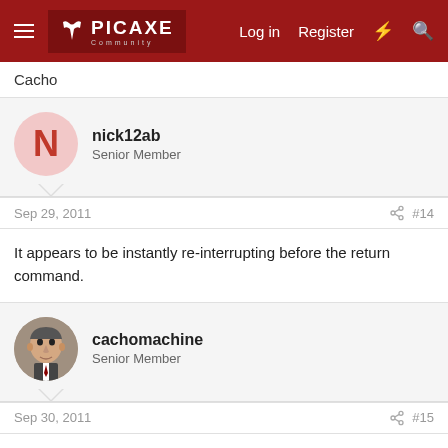PICAXE Community — Log in | Register
Cacho
nick12ab
Senior Member
Sep 29, 2011   #14
It appears to be instantly re-interrupting before the return command.
cachomachine
Senior Member
Sep 30, 2011   #15
I also notice that the I_2400_TX.bas is doing the same thing, could it be a bug in the simulator program? I am using the 5,4,0